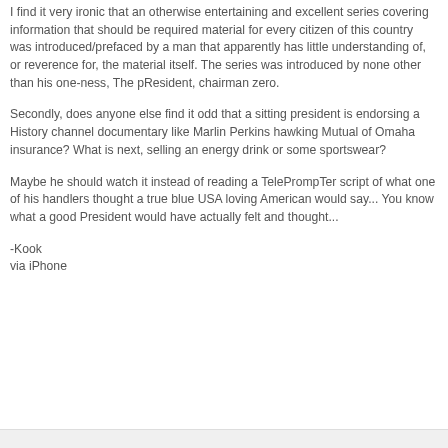I find it very ironic that an otherwise entertaining and excellent series covering information that should be required material for every citizen of this country was introduced/prefaced by a man that apparently has little understanding of, or reverence for, the material itself. The series was introduced by none other than his one-ness, The pResident, chairman zero.
Secondly, does anyone else find it odd that a sitting president is endorsing a History channel documentary like Marlin Perkins hawking Mutual of Omaha insurance? What is next, selling an energy drink or some sportswear?
Maybe he should watch it instead of reading a TelePrompTer script of what one of his handlers thought a true blue USA loving American would say... You know what a good President would have actually felt and thought...
-Kook
via iPhone